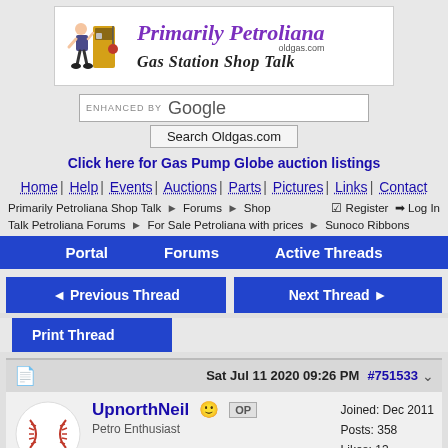[Figure (logo): Primarily Petroliana oldgas.com Gas Station Shop Talk banner with vintage gas station attendant illustration]
ENHANCED BY Google
Search Oldgas.com
Click here for Gas Pump Globe auction listings
Home | Help | Events | Auctions | Parts | Pictures | Links | Contact
Primarily Petroliana Shop Talk > Forums > Shop Talk Petroliana Forums > For Sale Petroliana with prices > Sunoco Ribbons    Register   Log In
Portal   Forums   Active Threads
◄ Previous Thread   Next Thread ►
Print Thread
Sat Jul 11 2020 09:26 PM  #751533
[Figure (illustration): Baseball avatar for user UpnorthNeil]
UpnorthNeil 😊 OP
Petro Enthusiast
Joined: Dec 2011
Posts: 358
Likes: 13
Green Bay, WI